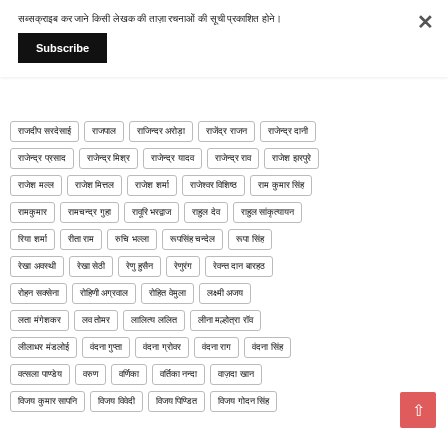सब्सक्राइब कर जाने किसी लेखक की ताज़ा रचनाओं की सूची प्रकाशित होने।
Subscribe
राजदीप सरदेसाई
राजपाल
राजिन्दर अरोड़ा
राजेंद्र राजन
राजेन्द्र दानी
राजेन्द्र प्रसाद
राजेन्द्र मिश्र
राजेन्द्र यादव
राजेन्द्र राव
राजेश झरपुरे
राजेश मल्ल
राजेश मित्तल
राजेश शर्मा
राजेश्वर विशिष्ठ
राम कुमार सिंह
रामकुमार
रामचन्द्र गुहा
रावूरि भरद्वाज
राहुल देव
राहुल सांकृत्यायन
रिया शर्मा
रीता राम
रुचि भल्ला
रूपसिंह चन्देल
रूपा सिंह
रेखा अवस्थी
रेखा सेठी
रेणु हुसैन
रेणुरंग
रेवन्त दान बारहठ
रोहन सक्सेना
रोहिणी अग्रवाल
रोहित वेमुला
लक्ष्मी अजय
लता मंगेशकर
लव तोमर
लालित्य ललित
लीना मल्होत्रा रॉव
लीलाधर मंडलोई
वंदना गुप्ता
वंदना ग्रोवर
वंदना राग
वंदना सिंह
वत्सला पाण्डेय
वरुण
वर्णिका
वर्तिका नन्दा
वाज़दा खान
विजय कुमार सापनि
विजय विवेदी
विजय पिण्डित
विजय गोदन सिंह